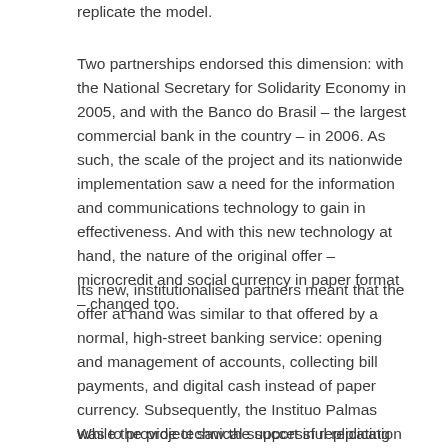replicate the model.
Two partnerships endorsed this dimension: with the National Secretary for Solidarity Economy in 2005, and with the Banco do Brasil – the largest commercial bank in the country – in 2006. As such, the scale of the project and its nationwide implementation saw a need for the information and communications technology to gain in effectiveness. And with this new technology at hand, the nature of the original offer – microcredit and social currency in paper format – changed too.
Its new, institutionalised partners meant that the offer at hand was similar to that offered by a normal, high-street banking service: opening and management of accounts, collecting bill payments, and digital cash instead of paper currency. Subsequently, the Instituo Palmas was to provide technical support in replicating the initiative.
While the project saw the successful replication of